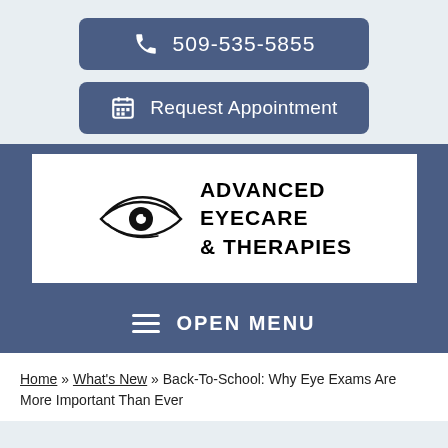509-535-5855
Request Appointment
[Figure (logo): Advanced Eyecare & Therapies logo with stylized eye graphic]
OPEN MENU
Home » What's New » Back-To-School: Why Eye Exams Are More Important Than Ever